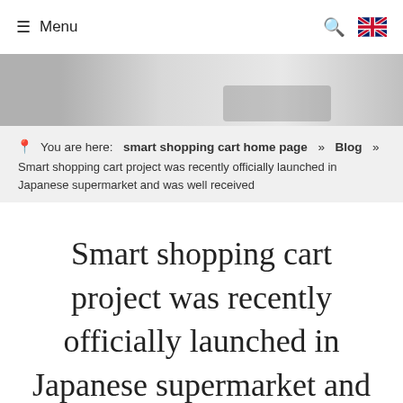≡ Menu
[Figure (photo): Partial hero image showing a light grey background with decorative objects including what appears to be a pearl and a dark brush or comb-like item on a white surface.]
📍 You are here:  smart shopping cart home page  »  Blog  »  Smart shopping cart project was recently officially launched in Japanese supermarket and was well received
Smart shopping cart project was recently officially launched in Japanese supermarket and was well received